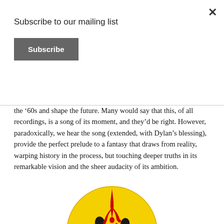Subscribe to our mailing list
Subscribe
the ’60s and shape the future. Many would say that this, of all recordings, is a song of its moment, and they’d be right. However, paradoxically, we hear the song (extended, with Dylan’s blessing), provide the perfect prelude to a fantasy that draws from reality, warping history in the process, but touching deeper truths in its remarkable vision and the sheer audacity of its ambition.
[Figure (illustration): Watchmen smiley face button — yellow circle with black smile, black oval eyes, and a red blood splatter dripping from the upper area, iconic Watchmen imagery]